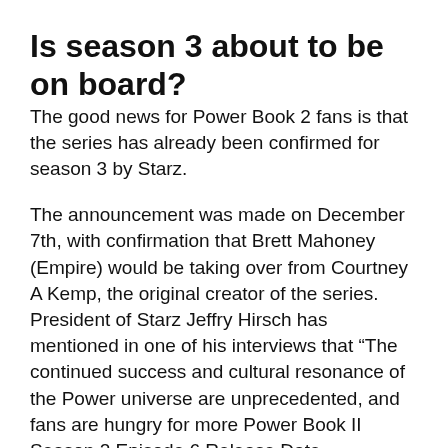Is season 3 about to be on board?
The good news for Power Book 2 fans is that the series has already been confirmed for season 3 by Starz.
The announcement was made on December 7th, with confirmation that Brett Mahoney (Empire) would be taking over from Courtney A Kemp, the original creator of the series. President of Starz Jeffry Hirsch has mentioned in one of his interviews that “The continued success and cultural resonance of the Power universe are unprecedented, and fans are hungry for more Power Book II Season 2 Episode 6 Release Date.